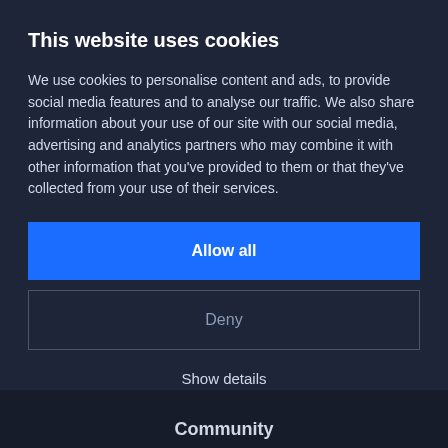This website uses cookies
We use cookies to personalise content and ads, to provide social media features and to analyse our traffic. We also share information about your use of our site with our social media, advertising and analytics partners who may combine it with other information that you've provided to them or that they've collected from your use of their services.
Allow all
Deny
Show details
Community